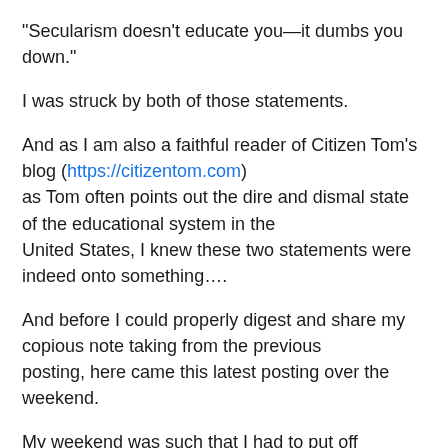“Secularism doesn’t educate you—it dumbs you down.”
I was struck by both of those statements.
And as I am also a faithful reader of Citizen Tom’s blog (https://citizentom.com) as Tom often points out the dire and dismal state of the educational system in the United States, I knew these two statements were indeed onto something….
And before I could properly digest and share my copious note taking from the previous posting, here came this latest posting over the weekend.
My weekend was such that I had to put off watching this particular video until this Monday morning when I could carve out an hour’s